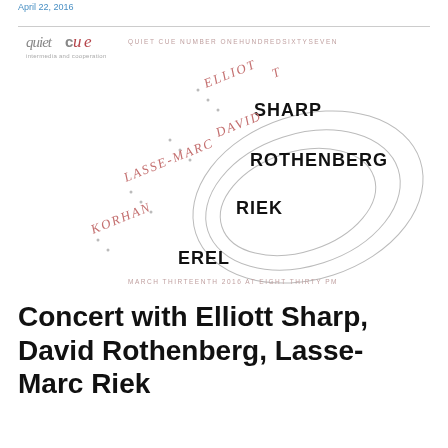April 22, 2016
[Figure (illustration): Quiet Cue concert poster design. Logo 'quietcue intermedia and cooperation' in top left with text 'QUIET CUE NUMBER ONEHUNDREDSIXTYSEVEN'. Artistic design with overlapping oval/ellipse curves and performer names rendered in mixed italic serif (mauve/pink) and bold sans-serif (black): ELLIOTT (italic pink), SHARP (bold black), DAVID (italic pink), ROTHENBERG (bold black), LASSE-MARC (italic pink), RIEK (bold black), KORHAN (italic pink), EREL (bold black). Bottom text: 'MARCH THIRTEENTH 2016 AT EIGHT THIRTY PM'.]
Concert with Elliott Sharp, David Rothenberg, Lasse-Marc Riek